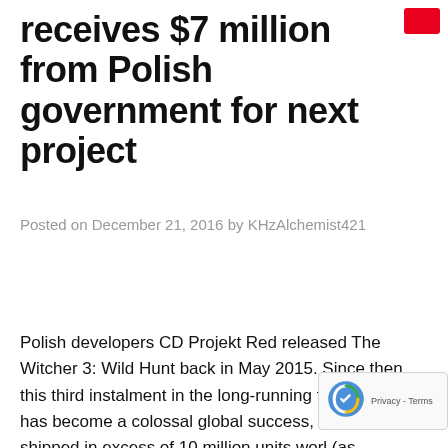receives $7 million from Polish government for next project
Posted on December 21, 2016 by KHzAlchemist421
Polish developers CD Projekt Red released The Witcher 3: Wild Hunt back in May 2015. Since then, this third instalment in the long-running fantasy series has become a colossal global success, having shipped in excess of 10 million units worl (as…